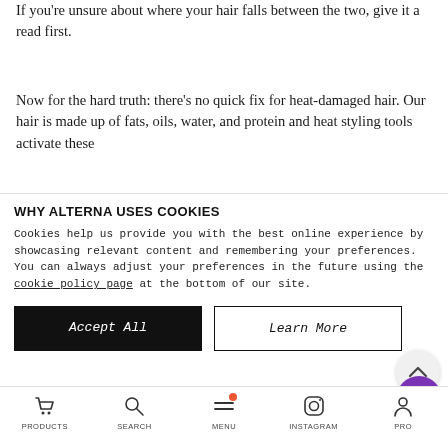If you're unsure about where your hair falls between the two, give it a read first.
Now for the hard truth: there's no quick fix for heat-damaged hair. Our hair is made up of fats, oils, water, and protein and heat styling tools activate these
WHY ALTERNA USES COOKIES
Cookies help us provide you with the best online experience by showcasing relevant content and remembering your preferences. You can always adjust your preferences in the future using the cookie policy page at the bottom of our site.
Accept All
Learn More
the change.
PRODUCTS   SEARCH   MENU   INSTAGRAM   PRO